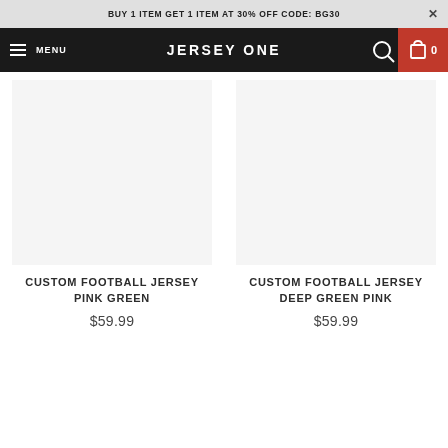BUY 1 ITEM GET 1 ITEM AT 30% OFF CODE: BG30
JERSEY ONE  MENU  0
CUSTOM FOOTBALL JERSEY PINK GREEN
$59.99
CUSTOM FOOTBALL JERSEY DEEP GREEN PINK
$59.99